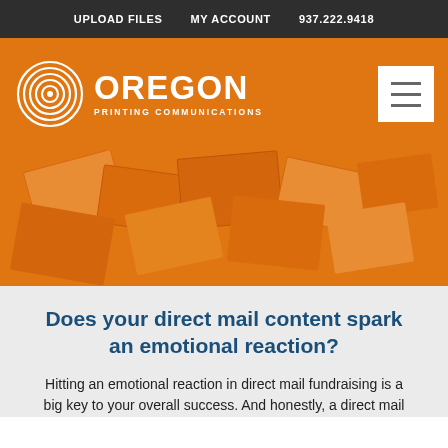UPLOAD FILES   MY ACCOUNT   937.222.9418
[Figure (logo): Oregon Printing Communications logo with concentric circles icon and white text on orange background, plus hamburger menu button]
[Figure (photo): Scattered direct mail pieces/postcards overlaid with orange tint]
Does your direct mail content spark an emotional reaction?
Hitting an emotional reaction in direct mail fundraising is a big key to your overall success. And honestly, a direct mail